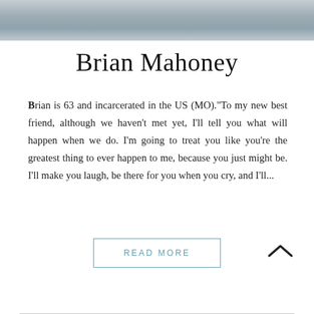[Figure (photo): Partial photo of Brian Mahoney, cropped at the top of the page showing shirt/torso area in gray tones]
Brian Mahoney
Brian is 63 and incarcerated in the US (MO)."To my new best friend, although we haven't met yet, I'll tell you what will happen when we do. I'm going to treat you like you're the greatest thing to ever happen to me, because you just might be. I'll make you laugh, be there for you when you cry, and I'll...
READ MORE